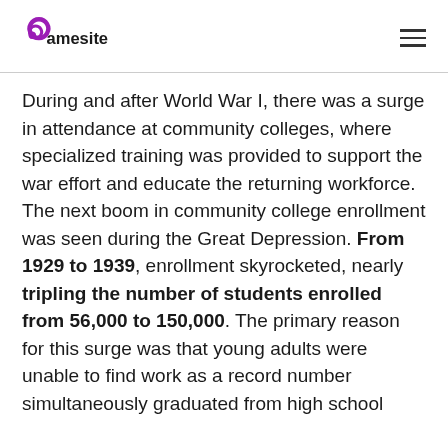Gamesite
During and after World War I, there was a surge in attendance at community colleges, where specialized training was provided to support the war effort and educate the returning workforce. The next boom in community college enrollment was seen during the Great Depression. From 1929 to 1939, enrollment skyrocketed, nearly tripling the number of students enrolled from 56,000 to 150,000. The primary reason for this surge was that young adults were unable to find work as a record number simultaneously graduated from high school